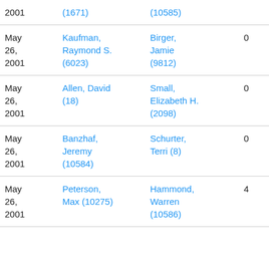| Date | Name | Opponent | Col4 | Col5 |
| --- | --- | --- | --- | --- |
| 2001 | (1671) | (10585) |  |  |
| May 26, 2001 | Kaufman, Raymond S. (6023) | Birger, Jamie (9812) | 0 | 5 |
| May 26, 2001 | Allen, David (18) | Small, Elizabeth H. (2098) | 0 | 0 |
| May 26, 2001 | Banzhaf, Jeremy (10584) | Schurter, Terri (8) | 0 | 5 |
| May 26, 2001 | Peterson, Max (10275) | Hammond, Warren (10586) | 4 | 0 |